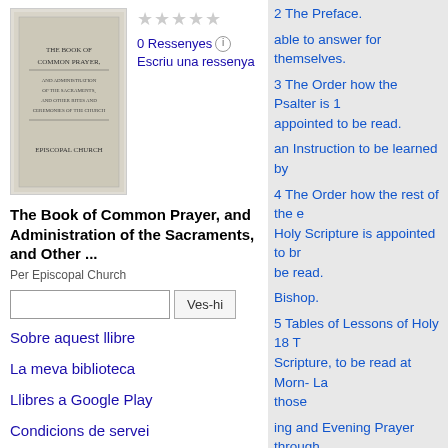[Figure (illustration): Book cover thumbnail for The Book of Common Prayer]
★ ★ ★ ★ ★
0 Ressenyes ⓘ
Escriu una ressenya
The Book of Common Prayer, and Administration of the Sacraments, and Other ...
Per Episcopal Church
Ves-hi (search box)
Sobre aquest llibre
La meva biblioteca
Llibres a Google Play
Condicions de servei
2 The Preface.
able to answer for themselves.
3 The Order how the Psalter is 17 appointed to be read.
an Instruction to be learned by
4 The Order how the rest of the e Holy Scripture is appointed to br be read.
Bishop.
5 Tables of Lessons of Holy 18 T Scripture, to be read at Morn- La those
ing and Evening Prayer through out the Year.
Years of Discretion.
6 The Calendar.
19 The Form of Solemnization
7 Tables and Rules for the Mo